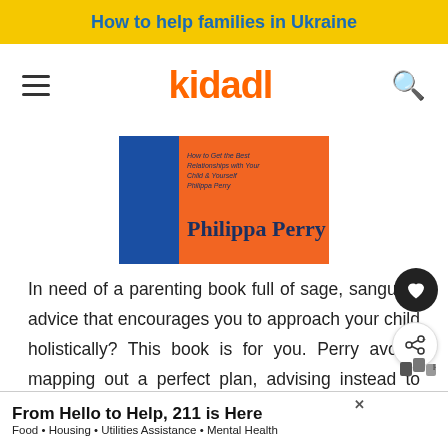How to help families in Ukraine
[Figure (logo): Kidadl logo with hamburger menu and search icon navigation bar]
[Figure (photo): Book cover by Philippa Perry - orange and blue cover design]
In need of a parenting book full of sage, sanguine advice that encourages you to approach your child holistically? This book is for you. Perry avoids mapping out a perfect plan, advising instead to take a bigger-picture approach as to what really matters, and the cri... never ove... ing, this
[Figure (infographic): Advertisement banner: From Hello to Help, 211 is Here. Food · Housing · Utilities Assistance · Mental Health]